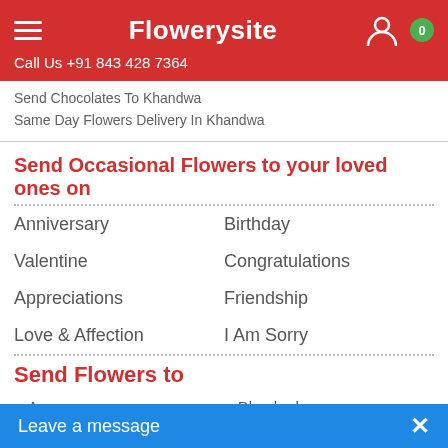Flowerysite | Call Us +91 843 428 7364
Send Chocolates To Khandwa
Same Day Flowers Delivery In Khandwa
Send Occasional Flowers to your loved ones on
Anniversary
Birthday
Valentine
Congratulations
Appreciations
Friendship
Love & Affection
I Am Sorry
Send Flowers to
Agra
Dhanbad
Ahmedabad
Faridabad
Allahabad
Gurgaon
Amritsar
Leave a message